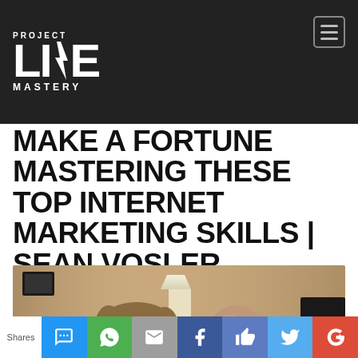PROJECT LIFE MASTERY
MAKE A FORTUNE MASTERING THESE TOP INTERNET MARKETING SKILLS | SEAN VOSLER
[Figure (photo): Two men smiling in a room; one wearing glasses and a light hoodie, the other bald in a dark shirt]
Shares